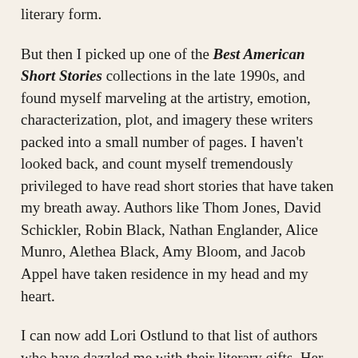literary form.
But then I picked up one of the Best American Short Stories collections in the late 1990s, and found myself marveling at the artistry, emotion, characterization, plot, and imagery these writers packed into a small number of pages. I haven't looked back, and count myself tremendously privileged to have read short stories that have taken my breath away. Authors like Thom Jones, David Schickler, Robin Black, Nathan Englander, Alice Munro, Alethea Black, Amy Bloom, and Jacob Appel have taken residence in my head and my heart.
I can now add Lori Ostlund to that list of authors who have dazzled me with their literary gifts. Her debut collection, The Bigness of the World, which won the Flannery O'Connor Prize, will be re-released early next year, and I hope that she finds a multitude of fans like me, because her talent is definitely evident in these stories, which deal with seemingly ordinary men, women, and children confronting the unexpected.
Here is an example of how she captures thoughts and emotions: